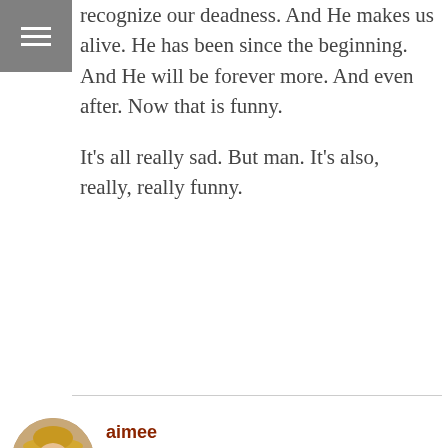[Figure (illustration): Hamburger menu icon (three horizontal white lines on grey square background) in top-left corner]
recognize our deadness. And He makes us alive. He has been since the beginning. And He will be forever more. And even after. Now that is funny.

It's all really sad. But man. It's also, really, really funny.
aimee
November 7, 2012 at 12:39 am
[Figure (photo): Circular avatar photo of a person wearing sunglasses and a hat]
[Figure (illustration): Like/thumbs-up button icon in a rounded square border]
“Suffering, in the Jewish tradition, confers no privileges. It all depends on what one makes of that suffering. It is possible to suffer and despair an entire lifetime and still not give up the art of laughter.” by Elie Wiesel, quoted in a A Ring of Endless Light by Madeleine L’Engle